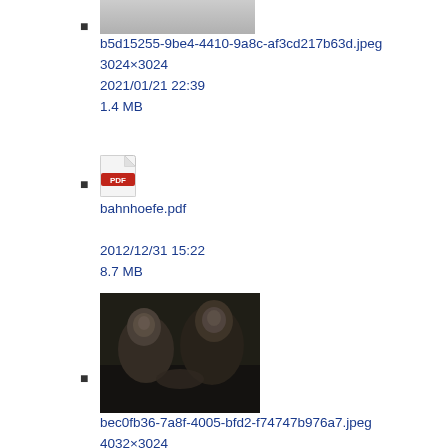b5d15255-9be4-4410-9a8c-af3cd217b63d.jpeg
3024×3024
2021/01/21 22:39
1.4 MB
bahnhoefe.pdf
2012/12/31 15:22
8.7 MB
bec0fb36-7a8f-4005-bfd2-f74747b976a7.jpeg
4032×3024
2021/01/21 22:48
2.4 MB
beilage_04_flyer_juni_09.pdf